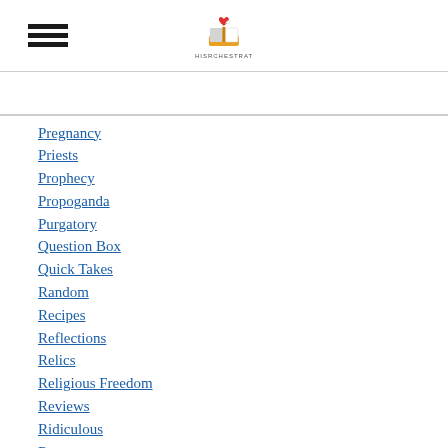[Figure (logo): Website logo with icon and text HISRCHESTRAT]
Pregnancy
Priests
Prophecy
Propoganda
Purgatory
Question Box
Quick Takes
Random
Recipes
Reflections
Relics
Religious Freedom
Reviews
Ridiculous
Rosary
Sacrament
Sacrifice
Saint